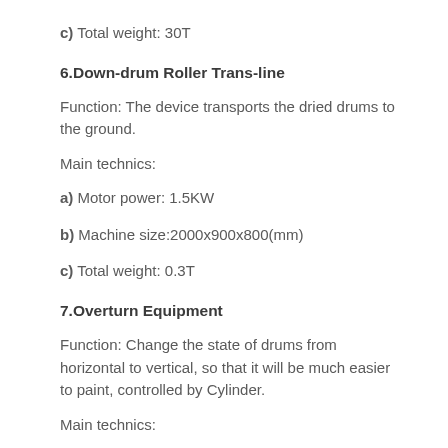c) Total weight: 30T
6.Down-drum Roller Trans-line
Function: The device transports the dried drums to the ground.
Main technics:
a) Motor power: 1.5KW
b) Machine size:2000x900x800(mm)
c) Total weight: 0.3T
7.Overturn Equipment
Function: Change the state of drums from horizontal to vertical, so that it will be much easier to paint, controlled by Cylinder.
Main technics: